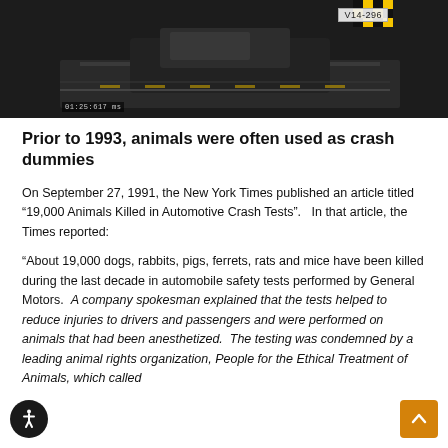[Figure (photo): Crash test facility photo showing a vehicle or sled in a testing track, with a checkered yellow-black pattern visible at top right and a label V14-296 in the upper right corner. A timestamp is visible in the lower left.]
Prior to 1993, animals were often used as crash dummies
On September 27, 1991, the New York Times published an article titled “19,000 Animals Killed in Automotive Crash Tests”.   In that article, the Times reported:
“About 19,000 dogs, rabbits, pigs, ferrets, rats and mice have been killed during the last decade in automobile safety tests performed by General Motors.  A company spokesman explained that the tests helped to reduce injuries to drivers and passengers and were performed on animals that had been anesthetized.  The testing was condemned by a leading animal rights organization, People for the Ethical Treatment of Animals, which called